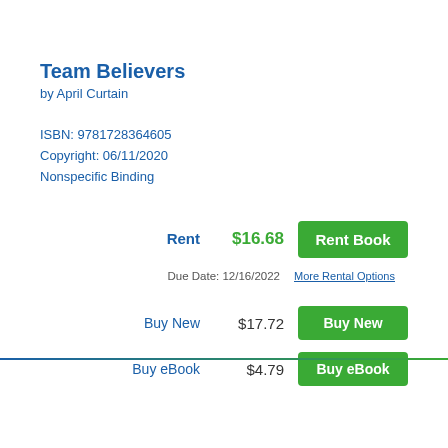Team Believers
by April Curtain
ISBN: 9781728364605
Copyright: 06/11/2020
Nonspecific Binding
| Action | Price | Button |
| --- | --- | --- |
| Rent | $16.68 | Rent Book |
| Due Date: 12/16/2022 |  | More Rental Options |
| Buy New | $17.72 | Buy New |
| Buy eBook | $4.79 | Buy eBook |